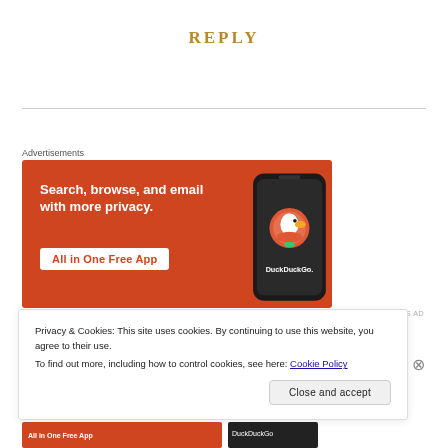REPLY
[Figure (screenshot): DuckDuckGo advertisement banner: orange background with text 'Search, browse, and email with more privacy. All in One Free App' and a smartphone image with DuckDuckGo logo]
Advertisements
Privacy & Cookies: This site uses cookies. By continuing to use this website, you agree to their use.
To find out more, including how to control cookies, see here: Cookie Policy
Close and accept